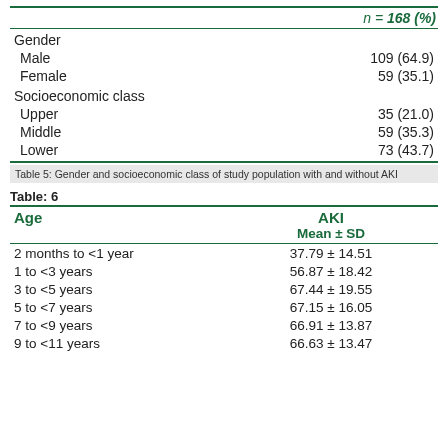|  | n = 168 (%) |
| --- | --- |
| Gender |  |
| Male | 109 (64.9) |
| Female | 59 (35.1) |
| Socioeconomic class |  |
| Upper | 35 (21.0) |
| Middle | 59 (35.3) |
| Lower | 73 (43.7) |
Table 5: Gender and socioeconomic class of study population with and without AKI
Table: 6
| Age | AKI |  |
| --- | --- | --- |
|  | Mean ± SD |  |
| 2 months to <1 year | 37.79 ± 14.51 |  |
| 1 to <3 years | 56.87 ± 18.42 |  |
| 3 to <5 years | 67.44 ± 19.55 |  |
| 5 to <7 years | 67.15 ± 16.05 |  |
| 7 to <9 years | 66.91 ± 13.87 |  |
| 9 to <11 years | 66.63 ± 13.47 |  |